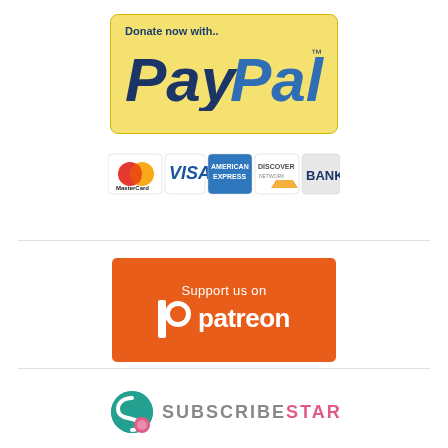[Figure (logo): PayPal donation button with yellow/gold rounded rectangle background, text 'Donate now with..' in dark blue bold, and large PayPal logo in dark navy/blue italic bold font with TM mark]
[Figure (logo): Row of payment method logos: MasterCard (red/orange circles), VISA (blue), American Express (blue card), Discover (orange logo), BANK (gray/blue)]
[Figure (logo): Patreon support button: orange rectangle with white text 'Support us on' and Patreon logo with P icon and 'patreon' wordmark in white]
[Figure (logo): SubscribeStar logo: teal/green circular S icon with pink accent, followed by 'SUBSCRIBESTAR' text where SUBSCRIBE is gray and STAR is pink]